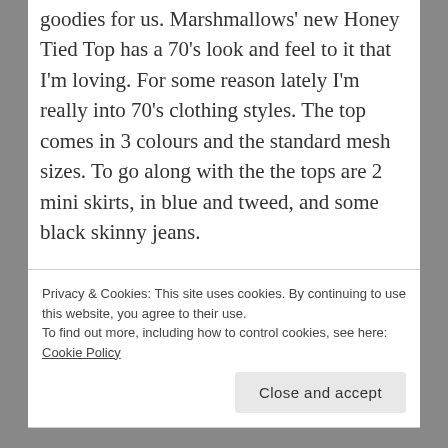goodies for us. Marshmallows' new Honey Tied Top has a 70's look and feel to it that I'm loving. For some reason lately I'm really into 70's clothing styles. The top comes in 3 colours and the standard mesh sizes. To go along with the the tops are 2 mini skirts, in blue and tweed, and some black skinny jeans.
Privacy & Cookies: This site uses cookies. By continuing to use this website, you agree to their use. To find out more, including how to control cookies, see here: Cookie Policy
Close and accept